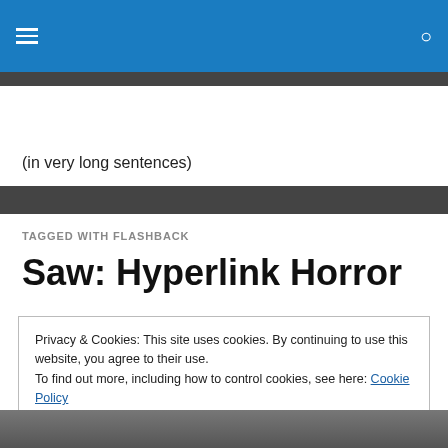(in very long sentences)
TAGGED WITH FLASHBACK
Saw: Hyperlink Horror
Privacy & Cookies: This site uses cookies. By continuing to use this website, you agree to their use.
To find out more, including how to control cookies, see here: Cookie Policy
Close and accept
[Figure (photo): Partial photo visible at bottom of page]